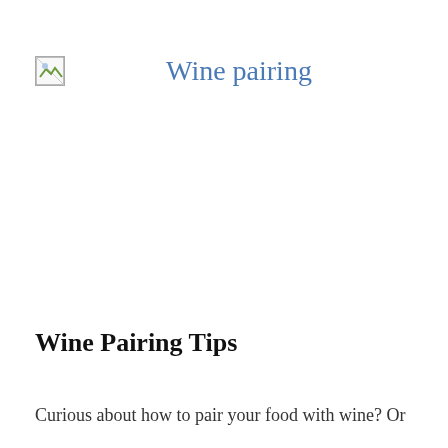[Figure (other): Broken image icon placeholder in the top-left area]
Wine pairing
Wine Pairing Tips
Curious about how to pair your food with wine? Or